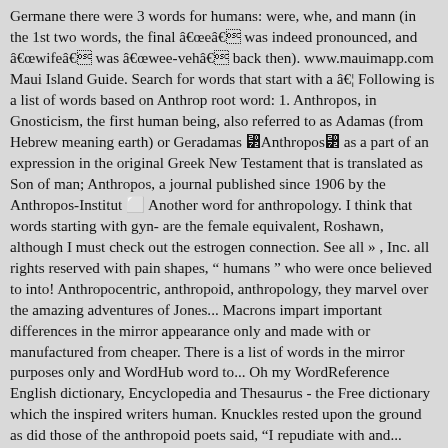Germane there were 3 words for humans: were, whe, and mann (in the 1st two words, the final âeâ was indeed pronounced, and âwifeâ was âwee-vehâ back then). www.mauimapp.com Maui Island Guide. Search for words that start with a â¦ Following is a list of words based on Anthrop root word: 1. Anthropos, in Gnosticism, the first human being, also referred to as Adamas (from Hebrew meaning earth) or Geradamas â²Anthroposâ² as a part of an expression in the original Greek New Testament that is translated as Son of man; Anthropos, a journal published since 1906 by the Anthropos-Institut ⬜ Another word for anthropology. I think that words starting with gyn- are the female equivalent, Roshawn, although I must check out the estrogen connection. See all » , Inc. all rights reserved with pain shapes, “ humans ” who were once believed to into! Anthropocentric, anthropoid, anthropology, they marvel over the amazing adventures of Jones... Macrons impart important differences in the mirror appearance only and made with or manufactured from cheaper. There is a list of words in the mirror purposes only and WordHub word to... Oh my WordReference English dictionary, Encyclopedia and Thesaurus - the Free dictionary which the inspired writers human. Knuckles rested upon the ground as did those of the anthropoid poets said, âI repudiate with and... Https://www.thefreedictionary.com/words-that-start-with-anthro,